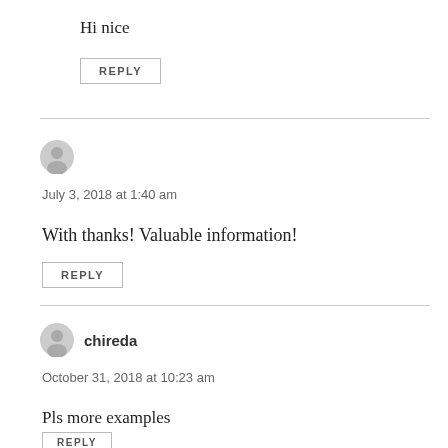Hi nice
REPLY
​​​​​​
July 3, 2018 at 1:40 am
With thanks! Valuable information!
REPLY
chireda
October 31, 2018 at 10:23 am
Pls more examples
REPLY